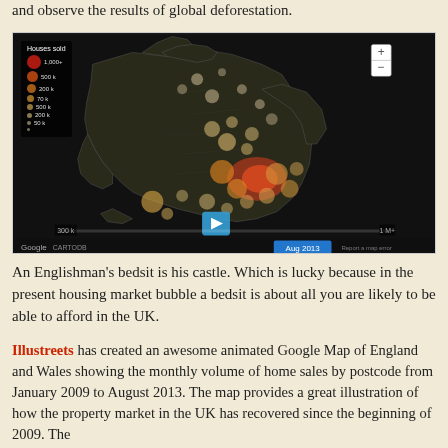and observe the results of global deforestation.
[Figure (map): Animated Google Map of England and Wales showing monthly volume of home sales by postcode. Dark background map with colored bubble overlays representing houses sold volumes. Legend shows circles in red to orange to beige gradient for different sale volumes. Play button visible. Date shown: Aug 2013. Footer shows Google and CARTODB branding.]
An Englishman's bedsit is his castle. Which is lucky because in the present housing market bubble a bedsit is about all you are likely to be able to afford in the UK.
Illustreets has created an awesome animated Google Map of England and Wales showing the monthly volume of home sales by postcode from January 2009 to August 2013. The map provides a great illustration of how the property market in the UK has recovered since the beginning of 2009. The